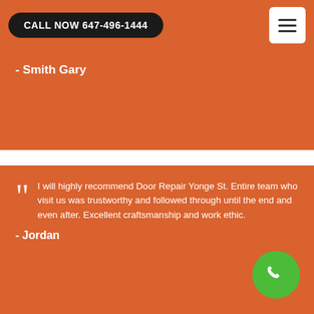CALL NOW 647-496-1444
- Smith Gary
I will highly recommend Door Repair Yonge St. Entire team who visit us was trustworthy and followed through until the end and even after. Excellent craftsmanship and work ethic.
- Jordan